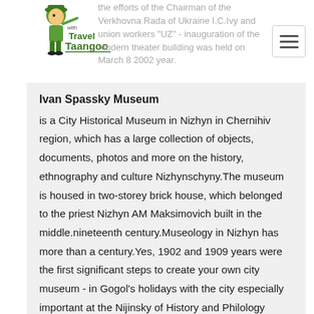the efforts of the Chairman of the Verkhovna Rada of Ukraine I.C.Ivy and union workers "UZ" - inauguration of the modern theater building was held on March 8 2002 year.
Ivan Spassky Museum
is a City Historical Museum in Nizhyn in Chernihiv region, which has a large collection of objects, documents, photos and more on the history, ethnography and culture Nizhynschyny.The museum is housed in two-storey brick house, which belonged to the priest Nizhyn AM Maksimovich built in the middle.nineteenth century.Museology in Nizhyn has more than a century.Yes, 1902 and 1909 years were the first significant steps to create your own city museum - in Gogol's holidays with the city especially important at the Nijinsky of History and Philology Institute was created Gogol's room.Whole however exhibits from the collection were not available, and